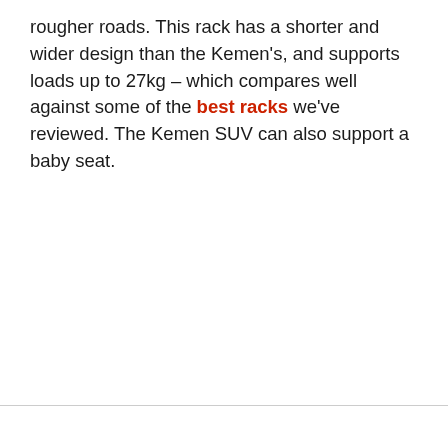rougher roads. This rack has a shorter and wider design than the Kemen's, and supports loads up to 27kg – which compares well against some of the best racks we've reviewed. The Kemen SUV can also support a baby seat.